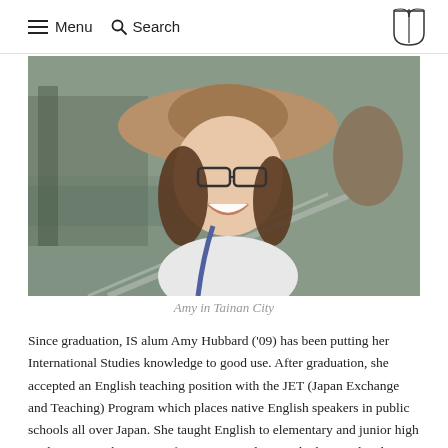≡ Menu  🔍 Search
[Figure (photo): A smiling young woman wearing glasses and a wide-brimmed straw hat, seated outdoors near water and metal railings. Another person visible in background.]
Amy in Tainan City
Since graduation, IS alum Amy Hubbard ('09) has been putting her International Studies knowledge to good use. After graduation, she accepted an English teaching position with the JET (Japan Exchange and Teaching) Program which places native English speakers in public schools all over Japan. She taught English to elementary and junior high students in northern Japan for two years, during which time she also